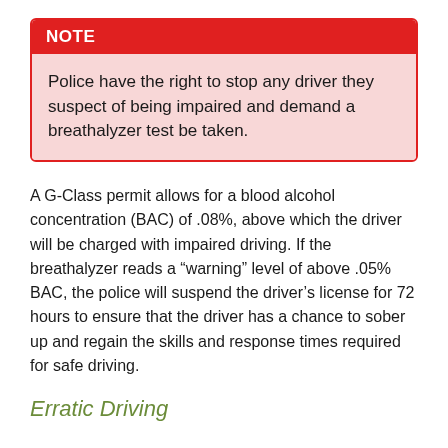NOTE
Police have the right to stop any driver they suspect of being impaired and demand a breathalyzer test be taken.
A G-Class permit allows for a blood alcohol concentration (BAC) of .08%, above which the driver will be charged with impaired driving. If the breathalyzer reads a “warning” level of above .05% BAC, the police will suspend the driver’s license for 72 hours to ensure that the driver has a chance to sober up and regain the skills and response times required for safe driving.
Erratic Driving